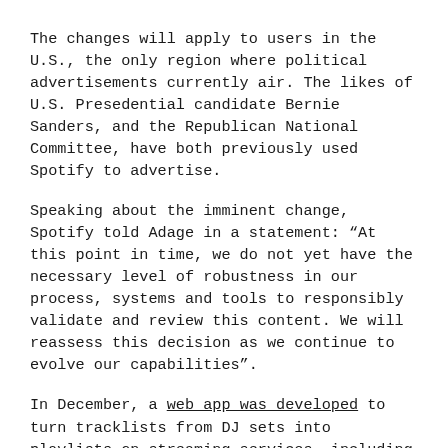The changes will apply to users in the U.S., the only region where political advertisements currently air. The likes of U.S. Presedential candidate Bernie Sanders, and the Republican National Committee, have both previously used Spotify to advertise.
Speaking about the imminent change, Spotify told Adage in a statement: “At this point in time, we do not yet have the necessary level of robustness in our process, systems and tools to responsibly validate and review this content. We will reassess this decision as we continue to evolve our capabilities”.
In December, a web app was developed to turn tracklists from DJ sets into playlists on streaming services, including Spotify and Apple Music.